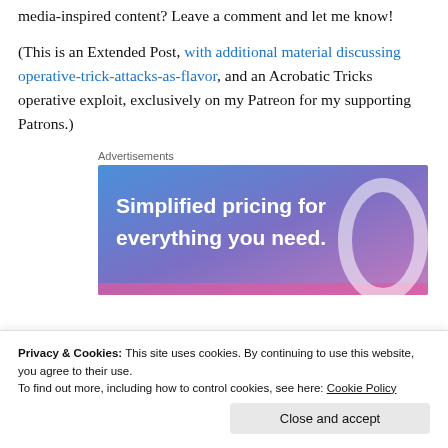media-inspired content? Leave a comment and let me know!
(This is an Extended Post, with additional material discussing operative-trick-attacks-as-flavor, and an Acrobatic Tricks operative exploit, exclusively on my Patreon for my supporting Patrons.)
Advertisements
[Figure (other): Advertisement banner with gradient blue-purple background reading 'Simplified pricing for everything you need.' with a decorative ring/hoop graphic]
Privacy & Cookies: This site uses cookies. By continuing to use this website, you agree to their use. To find out more, including how to control cookies, see here: Cookie Policy